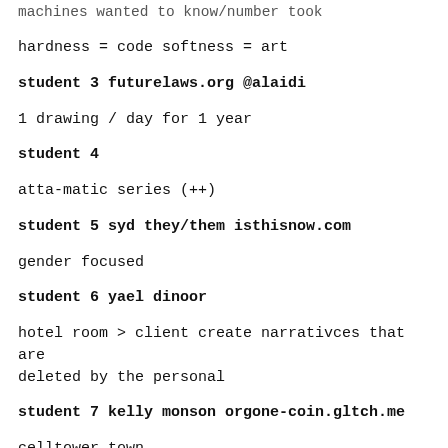machines wanted to know/number took
hardness = code softness = art
student 3 futurelaws.org @alaidi
1 drawing / day for 1 year
student 4
atta-matic series (++)
student 5 syd they/them isthisnow.com
gender focused
student 6 yael dinoor
hotel room > client create narrativces that are deleted by the personal
student 7 kelly monson orgone-coin.gltch.me
celltower,town